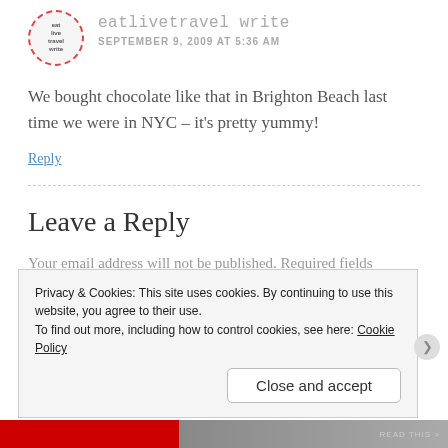[Figure (illustration): Avatar circle with dashed red border showing 'eat live travel write' logo]
eatlivetravel write
SEPTEMBER 9, 2009 AT 5:36 AM
We bought chocolate like that in Brighton Beach last time we were in NYC – it's pretty yummy!
Reply
Leave a Reply
Your email address will not be published. Required fields
Privacy & Cookies: This site uses cookies. By continuing to use this website, you agree to their use.
To find out more, including how to control cookies, see here: Cookie Policy
Close and accept